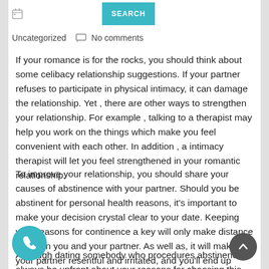SEARCH
Uncategorized    No comments
If your romance is for the rocks, you should think about some celibacy relationship suggestions. If your partner refuses to participate in physical intimacy, it can damage the relationship. Yet , there are other ways to strengthen your relationship. For example , talking to a therapist may help you work on the things which make you feel convenient with each other. In addition , a intimacy therapist will let you feel strengthened in your romantic relationship.
To improve your relationship, you should share your causes of abstinence with your partner. Should you be abstinent for personal health reasons, it's important to make your decision crystal clear to your date. Keeping your reasons for continence a key will only make distance between you and your partner. As well as, it will make your partner resentful and irritated, and you'll end up creating a sand wedge issue that r you apart.
Although dating somebody who procedures abstinence, always be upfront about your reasons for choosing this life